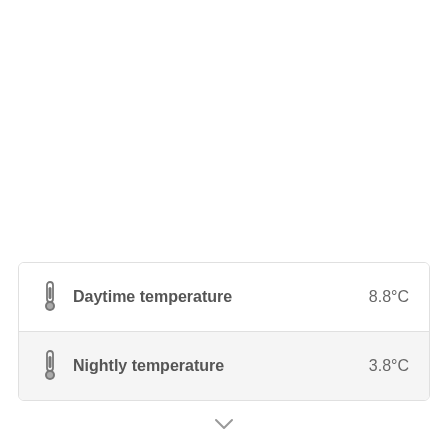|  | Label | Value |
| --- | --- | --- |
| 🌡 | Daytime temperature | 8.8°C |
| 🌡 | Nightly temperature | 3.8°C |